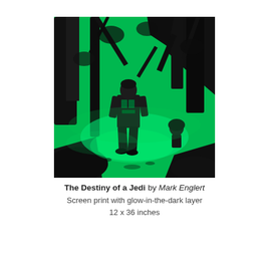[Figure (illustration): Screen print illustration showing a figure (Luke Skywalker) walking through a dark forest rendered in black and vivid green, with trees and another figure visible in the background. Glow-in-the-dark green ink on black background.]
The Destiny of a Jedi by Mark Englert
Screen print with glow-in-the-dark layer
12 x 36 inches